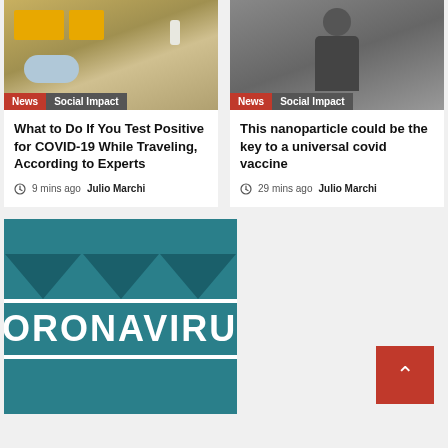[Figure (photo): Photo of travel/COVID items including yellow containers, face masks, hand sanitizer on a plaid surface with category tags News and Social Impact]
What to Do If You Test Positive for COVID-19 While Traveling, According to Experts
9 mins ago  Julio Marchi
[Figure (photo): Photo of a man in a lab or store setting with category tags News and Social Impact]
This nanoparticle could be the key to a universal covid vaccine
29 mins ago  Julio Marchi
[Figure (illustration): Teal/dark teal graphic with downward pointing arrows and text reading CORONAVIRUS]
[Figure (other): Blank gray area with a red scroll-to-top button (chevron up arrow) in the bottom right corner]